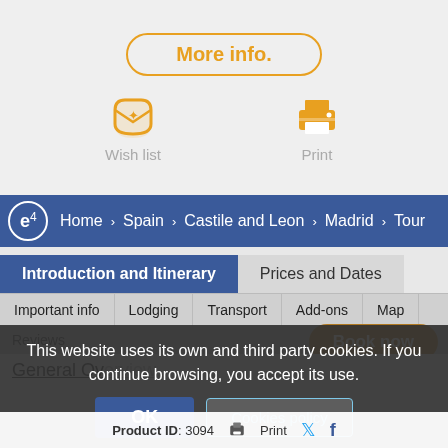[Figure (screenshot): More info button with orange border and text]
[Figure (illustration): Wish list icon (envelope with star) and Print icon]
Home > Spain > Castile and Leon > Madrid > Tour
Introduction and Itinerary
Prices and Dates
Important info
Lodging
Transport
Add-ons
Map
Reviews
Book now
This website uses its own and third party cookies. If you continue browsing, you accept its use.
OK
Cookies policy
General Overview
Product ID: 3094  Print